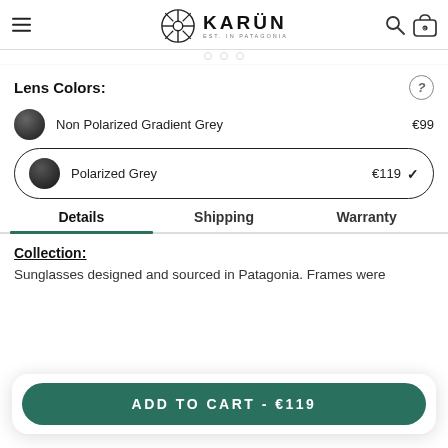KARÜN — EST. IN PATAGONIA
Lens Colors:
Non Polarized Gradient Grey — €99
Polarized Grey — €119 ✔
Details | Shipping | Warranty
Collection:
Sunglasses designed and sourced in Patagonia. Frames were
ADD TO CART - €119